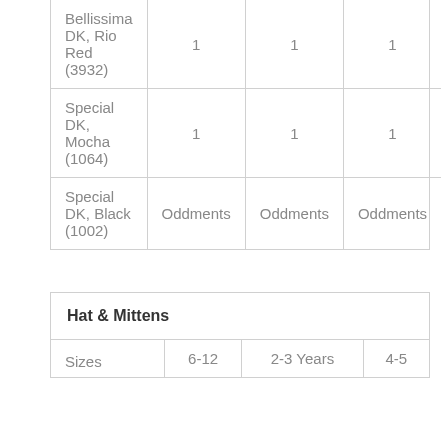| Bellissima DK, Rio Red (3932) | 1 | 1 | 1 |
| Special DK, Mocha (1064) | 1 | 1 | 1 |
| Special DK, Black (1002) | Oddments | Oddments | Oddments |
| Hat & Mittens | 6-12 | 2-3 Years | 4-5 |
| --- | --- | --- | --- |
| Sizes | 6-12 | 2-3 Years | 4-5 |